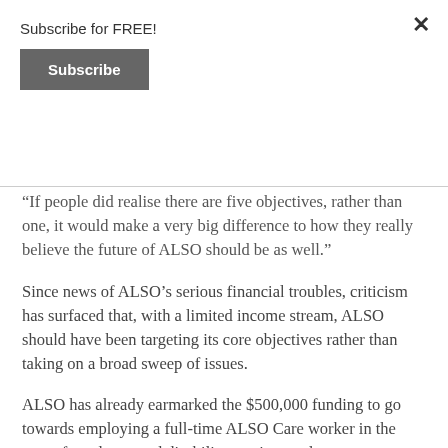Subscribe for FREE!
Subscribe
“If people did realise there are five objectives, rather than one, it would make a very big difference to how they really believe the future of ALSO should be as well.”
Since news of ALSO’s serious financial troubles, criticism has surfaced that, with a limited income stream, ALSO should have been targeting its core objectives rather than taking on a broad sweep of issues.
ALSO has already earmarked the $500,000 funding to go towards employing a full-time ALSO Care worker in the area of aged care and disability services and a part-